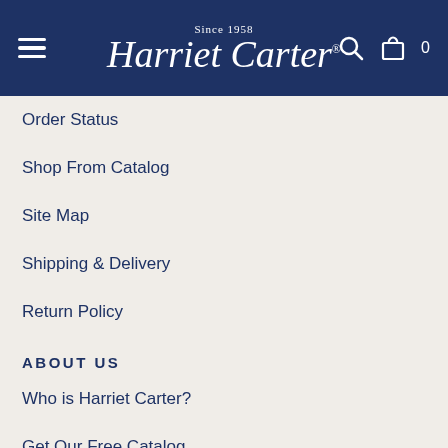Since 1958 Harriet Carter
Order Status
Shop From Catalog
Site Map
Shipping & Delivery
Return Policy
ABOUT US
Who is Harriet Carter?
Get Our Free Catalog
Read Our Blog
EMAIL SIGN UP
Never miss out on a sale!